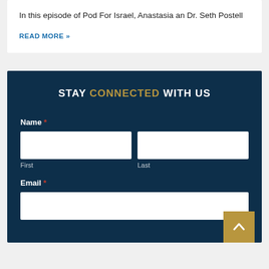In this episode of Pod For Israel, Anastasia an Dr. Seth Postell
READ MORE »
STAY CONNECTED WITH US
Name *
First
Last
Email *